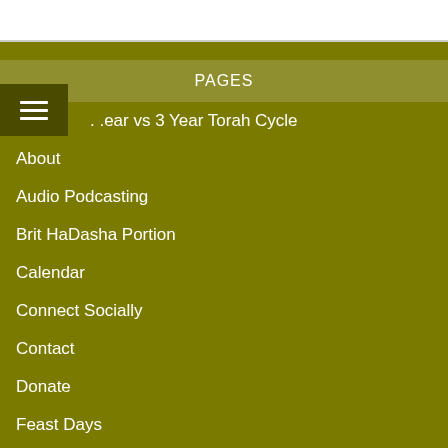PAGES
1 Year vs 3 Year Torah Cycle
About
Audio Podcasting
Brit HaDasha Portion
Calendar
Connect Socially
Contact
Donate
Feast Days
Hannukah / Chanukah
Pesach / Passover
Purim